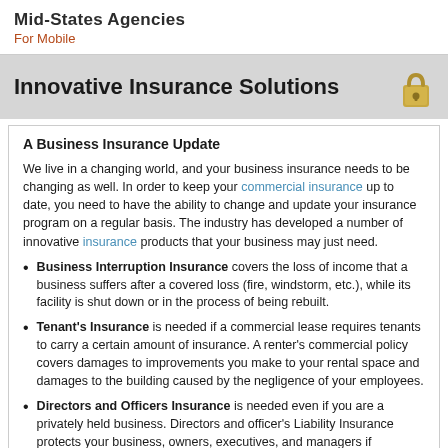Mid-States Agencies
For Mobile
Innovative Insurance Solutions
A Business Insurance Update
We live in a changing world, and your business insurance needs to be changing as well. In order to keep your commercial insurance up to date, you need to have the ability to change and update your insurance program on a regular basis.  The industry has developed a number of innovative insurance products that your business may just need.
Business Interruption Insurance covers the loss of income that a business suffers after a covered loss (fire, windstorm, etc.), while its facility is shut down or in the process of being rebuilt.
Tenant's Insurance is needed if a commercial lease requires tenants to carry a certain amount of insurance.  A renter's commercial policy covers damages to improvements you make to your rental space and damages to the building caused by the negligence of your employees.
Directors and Officers Insurance is needed even if you are a privately held business.  Directors and officer's Liability Insurance protects your business, owners, executives, and managers if individuals, competitors, third parties, or